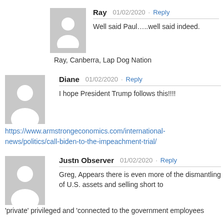Ray  01/02/2020 · Reply
Well said Paul…..well said indeed.
Ray, Canberra, Lap Dog Nation
Diane  01/02/2020 · Reply
I hope President Trump follows this!!!!
https://www.armstrongeconomics.com/international-news/politics/call-biden-to-the-impeachment-trial/
Justn Observer  01/02/2020 · Reply
Greg, Appears there is even more of the dismantling of U.S. assets and selling short to 'private' privileged and 'connected to the government employees